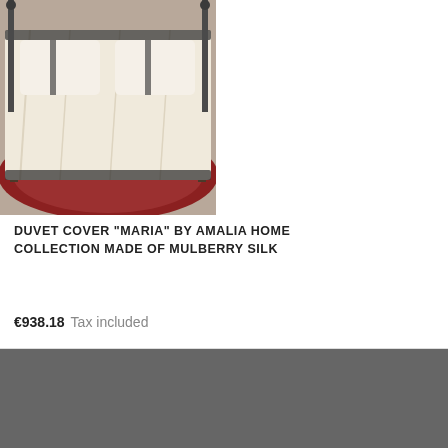[Figure (photo): Photo of a bed with cream/ivory silk duvet cover with dark trim, iron bed frame, on a red patterned rug]
DUVET COVER "MARIA" BY AMALIA HOME COLLECTION MADE OF MULBERRY SILK
€938.18  Tax included
Texaderhogar.com uses its own and third-party cookies for analytical and / or advertising purposes. Check the cookie policy. You can configure or reject cookies by clicking on "Manage cookies"   customize cookies
I AGREE